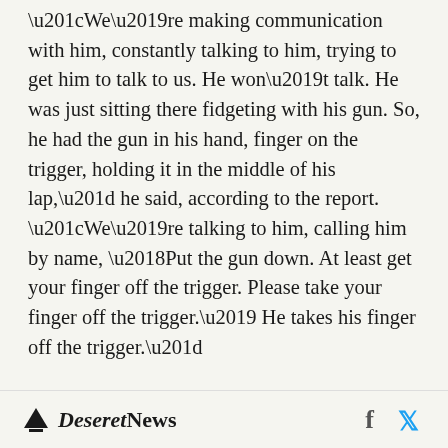“We’re making communication with him, constantly talking to him, trying to get him to talk to us. He won’t talk. He was just sitting there fidgeting with his gun. So, he had the gun in his hand, finger on the trigger, holding it in the middle of his lap,” he said, according to the report. “We’re talking to him, calling him by name, ‘Put the gun down. At least get your finger off the trigger. Please take your finger off the trigger.’ He takes his finger off the trigger.”
But Hilbelink remained silent the entire time.
Deseret News